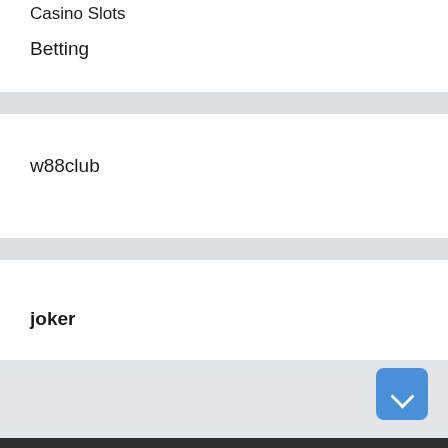Casino Slots
Betting
w88club
joker